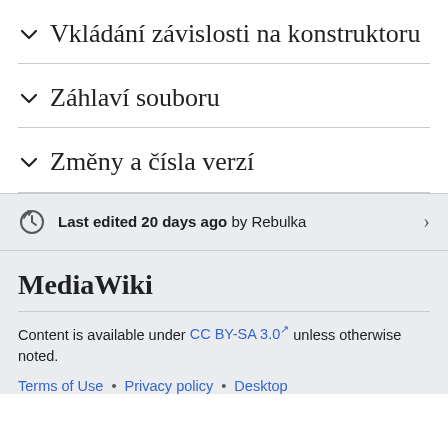Vkládání závislosti na konstruktoru
Záhlaví souboru
Změny a čísla verzí
Last edited 20 days ago by Rebulka
MediaWiki
Content is available under CC BY-SA 3.0 unless otherwise noted.
Terms of Use • Privacy policy • Desktop